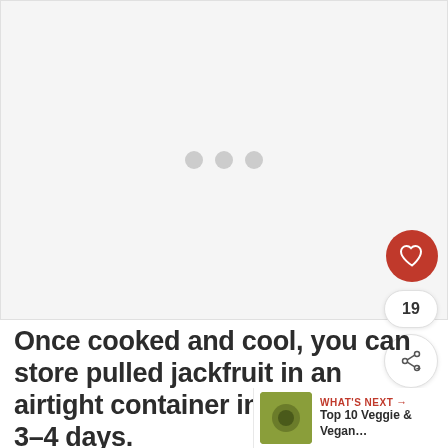[Figure (photo): Large image placeholder with light grey background and three grey loading dots centered, indicating an image is loading.]
Once cooked and cool, you can store pulled jackfruit in an airtight container in the fridge for 3-4 days.